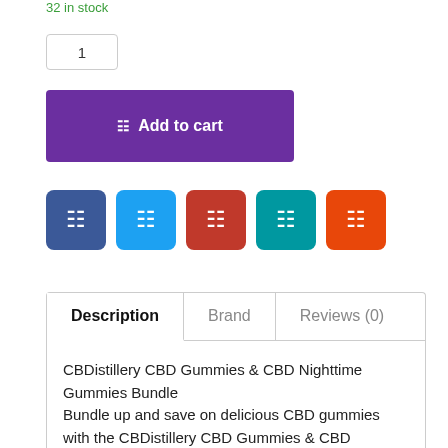32 in stock
1
Add to cart
[Figure (infographic): Five social sharing icon buttons: Facebook (dark blue), Twitter (light blue), Pinterest (dark red), Telegram/Tumblr (teal), Email/share (orange)]
Description | Brand | Reviews (0)
CBDistillery CBD Gummies & CBD Nighttime Gummies Bundle
Bundle up and save on delicious CBD gummies with the CBDistillery CBD Gummies & CBD Nighttime Gummies 2-Pack Bundle!